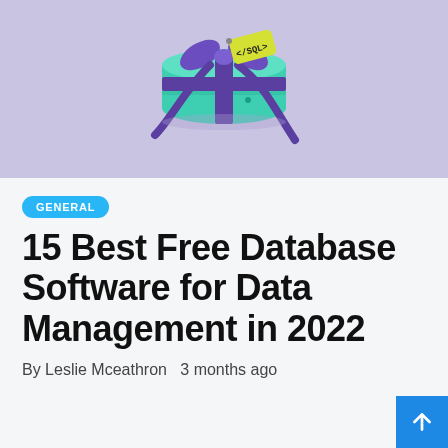[Figure (illustration): Decorative illustration of a teal/mint colored database cylinder wrapped with a purple ribbon and bow, with a yellow tag reading '</SQL>', set against a light purple/lavender background.]
GENERAL
15 Best Free Database Software for Data Management in 2022
By Leslie Mceathron  3 months ago